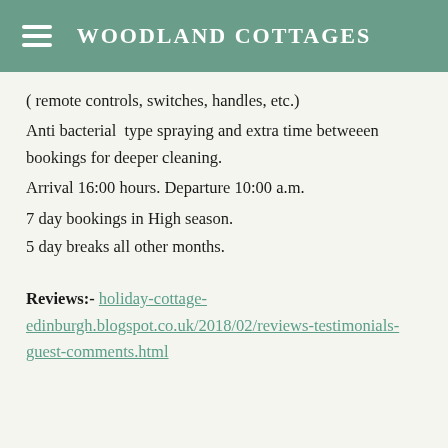WOODLAND COTTAGES
( remote controls, switches, handles, etc.)
Anti bacterial  type spraying and extra time betweeen bookings for deeper cleaning.
Arrival 16:00 hours. Departure 10:00 a.m.
7 day bookings in High season.
5 day breaks all other months.
Reviews:- holiday-cottage-edinburgh.blogspot.co.uk/2018/02/reviews-testimonials-guest-comments.html